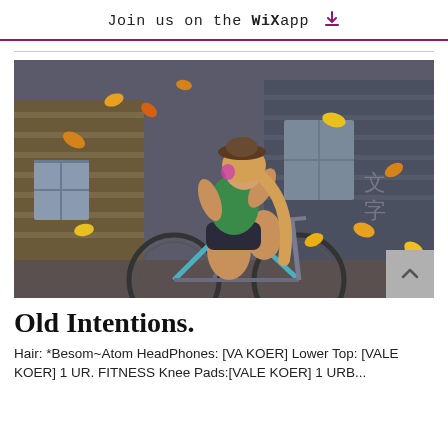Join us on the WiX app ⬇
[Figure (illustration): Digital artwork / screenshot of a female avatar character riding a mountain bike, wearing a green crop top and dark shorts, with long blonde hair. Autumn leaves are falling around her. The background shows a rustic wooden building. A grey scroll-to-top button with an up-arrow chevron overlays the bottom-right corner of the image.]
Old Intentions.
Hair: *Besom~Atom HeadPhones: [VA KOER] Lower Top: [VALE KOER] 1 UR. FITNESS Knee Pads:[VALE KOER] 1 URB...